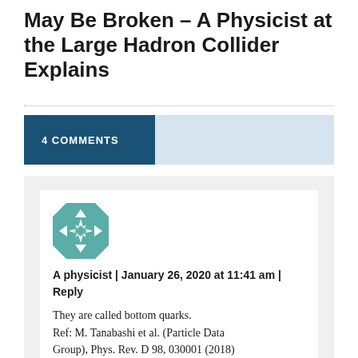May Be Broken – A Physicist at the Large Hadron Collider Explains
4 COMMENTS
[Figure (illustration): Teal and white geometric quilt-pattern avatar image]
A physicist | January 26, 2020 at 11:41 am | Reply
They are called bottom quarks.
Ref: M. Tanabashi et al. (Particle Data Group), Phys. Rev. D 98, 030001 (2018)